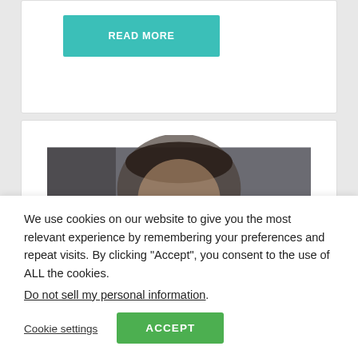READ MORE
[Figure (photo): A man holding a bitcoin coin close to the camera, blurred face in background with dark grey backdrop]
We use cookies on our website to give you the most relevant experience by remembering your preferences and repeat visits. By clicking “Accept”, you consent to the use of ALL the cookies.
Do not sell my personal information.
Cookie settings
ACCEPT